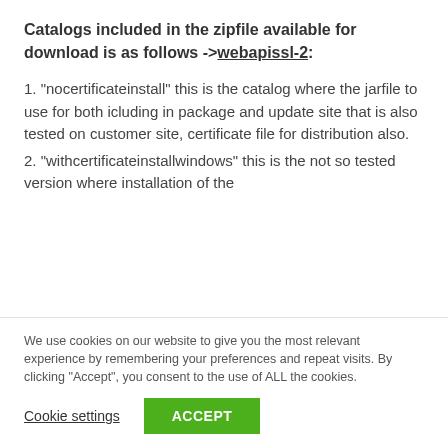Catalogs included in the zipfile available for download is as follows ->webapissl-2:
1. "nocertificateinstall" this is the catalog where the jarfile to use for both icluding in package and update site that is also tested on customer site, certificate file for distribution also.
2. "withcertificateinstallwindows" this is the not so tested version where installation of the
We use cookies on our website to give you the most relevant experience by remembering your preferences and repeat visits. By clicking “Accept”, you consent to the use of ALL the cookies.
Cookie settings  ACCEPT